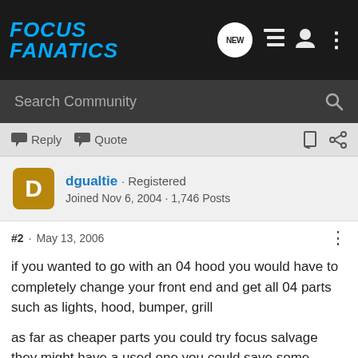[Figure (logo): Focus Fanatics logo in blue italic text on dark background]
Search Community
Reply  Quote
dgualtie · Registered
Joined Nov 6, 2004 · 1,746 Posts
#2 · May 13, 2006
if you wanted to go with an 04 hood you would have to completely change your front end and get all 04 parts such as lights, hood, bumper, grill
as far as cheaper parts you could try focus salvage they might have a used one you could save some money on. or try to find someone with an after market hood on their 05-06 and see if they want to sell their oem